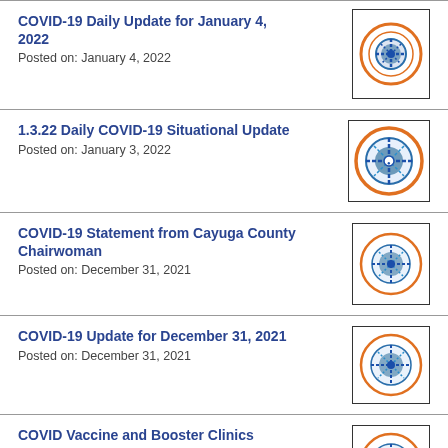COVID-19 Daily Update for January 4, 2022
Posted on: January 4, 2022
1.3.22 Daily COVID-19 Situational Update
Posted on: January 3, 2022
COVID-19 Statement from Cayuga County Chairwoman
Posted on: December 31, 2021
COVID-19 Update for December 31, 2021
Posted on: December 31, 2021
COVID Vaccine and Booster Clinics
Posted on: December 30, 2021
COVID-19 Update for December 30, 2021